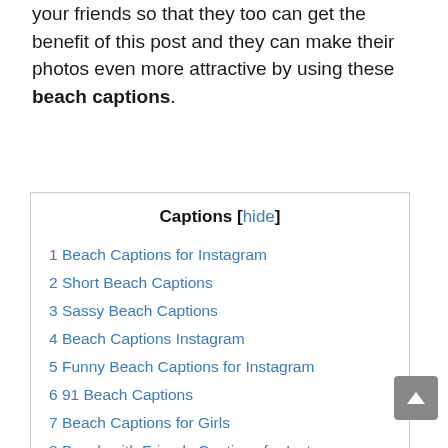your friends so that they too can get the benefit of this post and they can make their photos even more attractive by using these beach captions.
1 Beach Captions for Instagram
2 Short Beach Captions
3 Sassy Beach Captions
4 Beach Captions Instagram
5 Funny Beach Captions for Instagram
6 91 Beach Captions
7 Beach Captions for Girls
8 Beach with Friends Captions for Instagram
9 Instagram Captions for Beach Pictures
10 Selfie Captions for Beach Photos